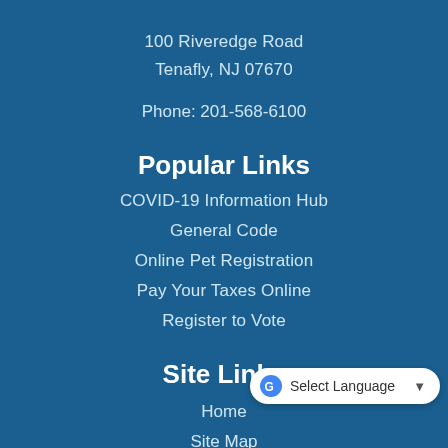100 Riveredge Road
Tenafly, NJ 07670
Phone: 201-568-6100
Popular Links
COVID-19 Information Hub
General Code
Online Pet Registration
Pay Your Taxes Online
Register to Vote
Site Links
Home
Site Map